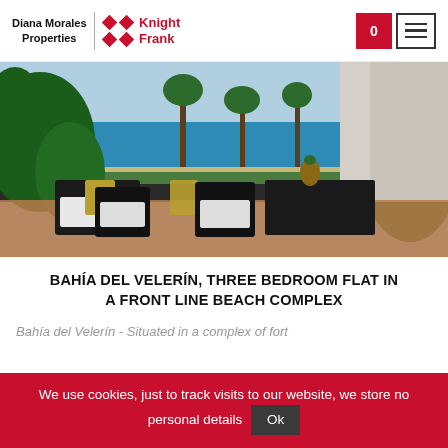Diana Morales Properties | Knight Frank
[Figure (photo): Terrace of a beachfront apartment with black outdoor furniture including sofas and chairs with olive/yellow cushions, tropical plants, and a view of the Mediterranean sea, beach, and palm trees in the background.]
BAHÍA DEL VELERÍN, THREE BEDROOM FLAT IN A FRONT LINE BEACH COMPLEX
Bahía del Velerín - Situated in a complex of fort
We use cookies, just to track visits to our website, we store no personal details  Ok